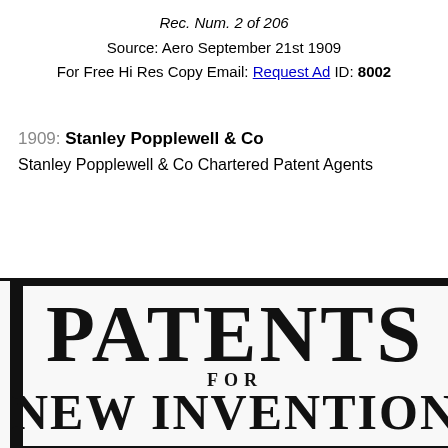Rec. Num. 2 of 206
Source: Aero September 21st 1909
For Free Hi Res Copy Email: Request Ad ID: 8002
1909: Stanley Popplewell & Co
Stanley Popplewell & Co Chartered Patent Agents
[Figure (photo): Scanned vintage advertisement showing bold text: PATENTS FOR NEW INVENTIONS, from Aero magazine September 21st 1909, for Stanley Popplewell & Co Chartered Patent Agents.]